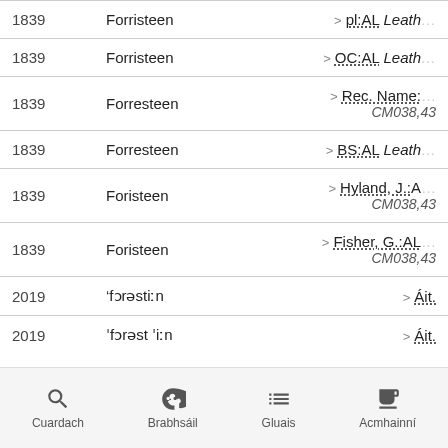| Year | Name | Reference |
| --- | --- | --- |
| 1839 | Forristeen | > pl:AL Leath… |
| 1839 | Forristeen | > OC:AL Leath… |
| 1839 | Forresteen | > Rec. Name:… CM038,43 |
| 1839 | Forresteen | > BS:AL Leath… |
| 1839 | Foristeen | > Hyland, J.:A… CM038,43 |
| 1839 | Foristeen | > Fisher, G.:AL… CM038,43 |
| 2019 | 'fɔrəstiːn | > Áit. |
| 2019 | ,fɔrəst 'iːn | > Áit. |
Cuardach  Brabhsáil  Gluais  Acmhainní